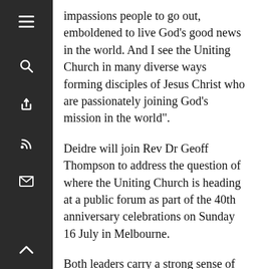impassions people to go out, emboldened to live God's good news in the world. And I see the Uniting Church in many diverse ways forming disciples of Jesus Christ who are passionately joining God's mission in the world".
Deidre will join Rev Dr Geoff Thompson to address the question of where the Uniting Church is heading at a public forum as part of the 40th anniversary celebrations on Sunday 16 July in Melbourne.
Both leaders carry a strong sense of hope for the future of the Uniting Church. This is based not only on their connections to the growing world church as the Uniting Church actively participates in international